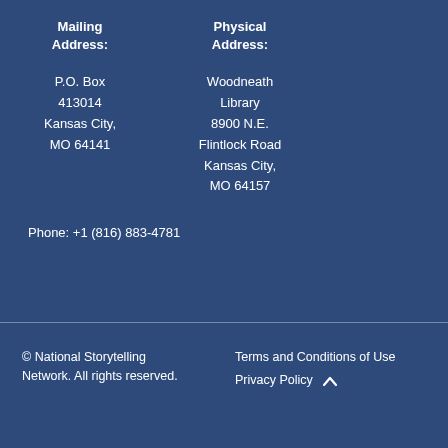Mailing Address:

P.O. Box 413014
Kansas City, MO 64141
Physical Address:

Woodneath Library
8900 N.E. Flintlock Road
Kansas City, MO 64157
Phone: +1 (816) 883-4781
© National Storytelling Network. All rights reserved.
Terms and Conditions of Use
Privacy Policy